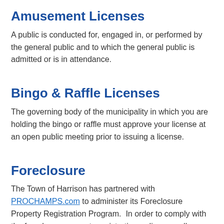Amusement Licenses
A public is conducted for, engaged in, or performed by the general public and to which the general public is admitted or is in attendance.
Bingo & Raffle Licenses
The governing body of the municipality in which you are holding the bingo or raffle must approve your license at an open public meeting prior to issuing a license.
Foreclosure
The Town of Harrison has partnered with PROCHAMPS.com to administer its Foreclosure Property Registration Program.  In order to comply with the foreclosure property registration ordinance, all mortgagees must register online via PROCHAMPS.com